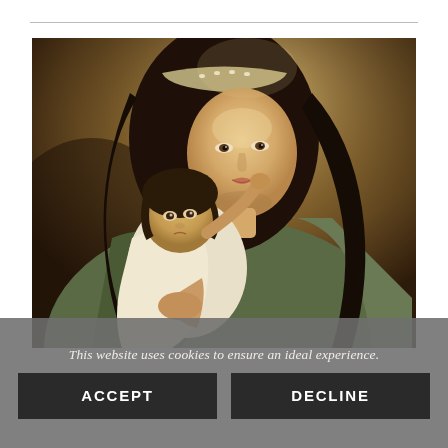[Figure (illustration): Classical oil painting of the Madonna and Child — a young woman (Virgin Mary) with long dark hair and a pearl headband, wearing a green robe with gold embroidery, holding an infant (Christ child) who reaches up to touch her face. Warm golden-brown background tones. Renaissance or Baroque style.]
This website uses cookies to ensure an ideal experience.
ACCEPT
DECLINE